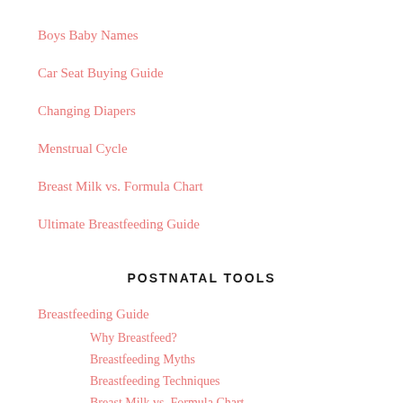Boys Baby Names
Car Seat Buying Guide
Changing Diapers
Menstrual Cycle
Breast Milk vs. Formula Chart
Ultimate Breastfeeding Guide
POSTNATAL TOOLS
Breastfeeding Guide
Why Breastfeed?
Breastfeeding Myths
Breastfeeding Techniques
Breast Milk vs. Formula Chart